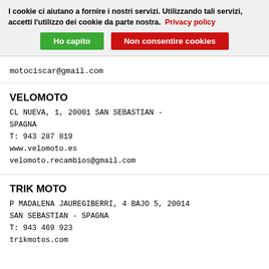I cookie ci aiutano a fornire i nostri servizi. Utilizzando tali servizi, accetti l'utilizzo dei cookie da parte nostra. Privacy policy
Ho capito | Non consentire cookies
motociscar@gmail.com
VELOMOTO
CL NUEVA, 1, 20001 SAN SEBASTIAN - SPAGNA
T: 943 287 819
www.velomoto.es
velomoto.recambios@gmail.com
TRIK MOTO
P MADALENA JAUREGIBERRI, 4 BAJO 5, 20014 SAN SEBASTIAN - SPAGNA
T: 943 469 923
trikmotos.com